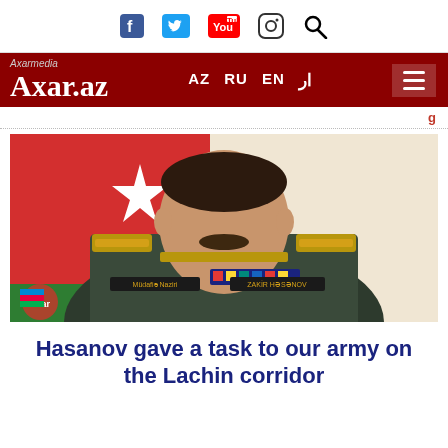Axar.az — AZ RU EN — Social icons: Facebook, Twitter, YouTube, Instagram, Search
[Figure (photo): Azerbaijani military officer Zakir Hasanov in uniform with medals and epaulettes, seated in front of an Azerbaijani flag. Name tags on uniform read 'Müdafiə Naziri' and 'Zakir Həsənov'.]
Hasanov gave a task to our army on the Lachin corridor